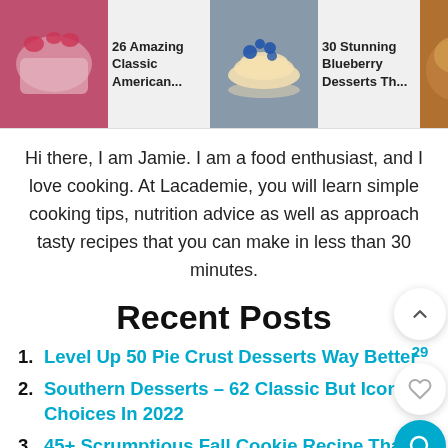[Figure (screenshot): Horizontal strip of three food article cards, each with a thumbnail image and title: '26 Amazing Classic American...', '30 Stunning Blueberry Desserts Th...', '25+ Flavor... British Rec...']
Hi there, I am Jamie. I am a food enthusiast, and I love cooking. At Lacademie, you will learn simple cooking tips, nutrition advice as well as approach tasty recipes that you can make in less than 30 minutes.
Recent Posts
Level Up 50 Pie Crust Desserts Way Better
Southern Desserts – 62 Classic But Iconic Choices In 2022
45+ Scrumptious Fall Cookie Recipe That You Must Try In 2022